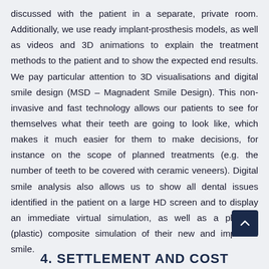discussed with the patient in a separate, private room. Additionally, we use ready implant-prosthesis models, as well as videos and 3D animations to explain the treatment methods to the patient and to show the expected end results. We pay particular attention to 3D visualisations and digital smile design (MSD – Magnadent Smile Design). This non-invasive and fast technology allows our patients to see for themselves what their teeth are going to look like, which makes it much easier for them to make decisions, for instance on the scope of planned treatments (e.g. the number of teeth to be covered with ceramic veneers). Digital smile analysis also allows us to show all dental issues identified in the patient on a large HD screen and to display an immediate virtual simulation, as well as a physical (plastic) composite simulation of their new and improved smile.
4. SETTLEMENT AND COST